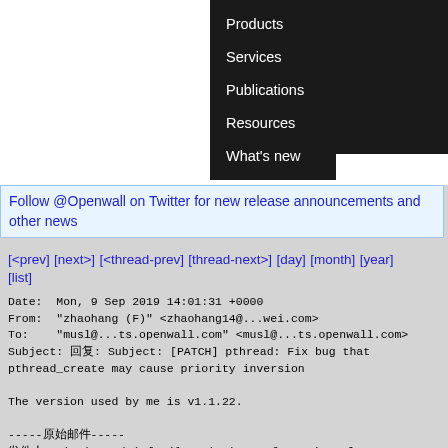[Figure (screenshot): Website navigation area with white logo area on left and dark navigation menu on right showing Products, Services, Publications, Resources, What's new]
Follow @Openwall on Twitter for new release announcements and other news
[<prev] [next>] [<thread-prev] [thread-next>] [day] [month] [year] [list]
Date: Mon, 9 Sep 2019 14:01:31 +0000
From: "zhaohang (F)" <zhaohang14@...wei.com>
To: "musl@...ts.openwall.com" <musl@...ts.openwall.com>
Subject: 回复: Subject: [PATCH] pthread: Fix bug that pthread_create may cause priority inversion

The version used by me is v1.1.22.

-----原始邮件-----
发件人: zhaohang (F) [mailto:zhaohang14@...wei.com]
发送时间: 2019年9月9日 21:58
收件人: musl@...ts.openwall.com